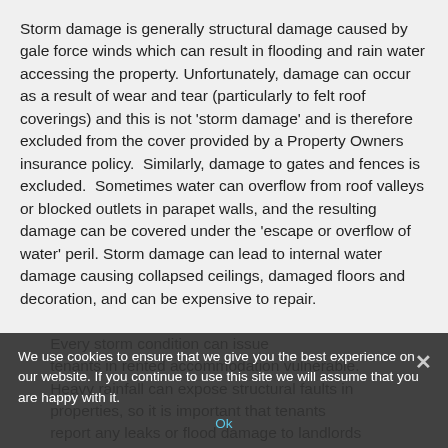Storm damage is generally structural damage caused by gale force winds which can result in flooding and rain water accessing the property. Unfortunately, damage can occur as a result of wear and tear (particularly to felt roof coverings) and this is not 'storm damage' and is therefore excluded from the cover provided by a Property Owners insurance policy.  Similarly, damage to gates and fences is excluded.  Sometimes water can overflow from roof valleys or blocked outlets in parapet walls, and the resulting damage can be covered under the 'escape or overflow of water' peril. Storm damage can lead to internal water damage causing collapsed ceilings, damaged floors and decoration, and can be expensive to repair. Every storm condition can issue tenants in rented accommodation vulnerable. Heavy rainfall can expose structural faults in properties, so it is important that tenants report any leaks or flood damage to landlords
We use cookies to ensure that we give you the best experience on our website. If you continue to use this site we will assume that you are happy with it. Ok